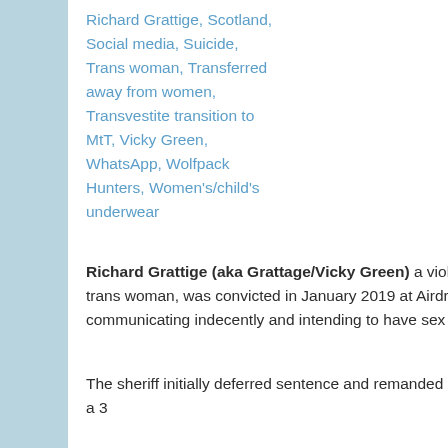Richard Grattige, Scotland, Social media, Suicide, Trans woman, Transferred away from women, Transvestite transition to MtT, Vicky Green, WhatsApp, Wolfpack Hunters, Women's/child's underwear
Richard Grattige (aka Grattage/Vicky Green) a violent male who identifies as a trans woman, was convicted in January 2019 at Airdrie Sheriff Court of communicating indecently and intending to have sex with an underage girl.
The sheriff initially deferred sentence and remanded Grattige in custody before giving a 3...